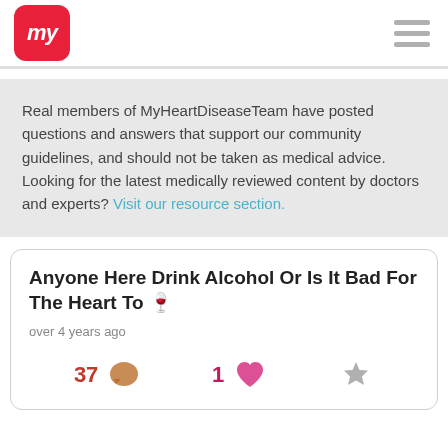[Figure (logo): MyTeam app logo — red rounded square with white italic 'my' text]
Real members of MyHeartDiseaseTeam have posted questions and answers that support our community guidelines, and should not be taken as medical advice. Looking for the latest medically reviewed content by doctors and experts? Visit our resource section.
Anyone Here Drink Alcohol Or Is It Bad For The Heart To 🍷
over 4 years ago
37 comments · 1 like · bookmark